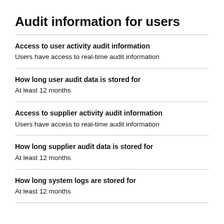Audit information for users
Access to user activity audit information
Users have access to real-time audit information
How long user audit data is stored for
At least 12 months
Access to supplier activity audit information
Users have access to real-time audit information
How long supplier audit data is stored for
At least 12 months
How long system logs are stored for
At least 12 months